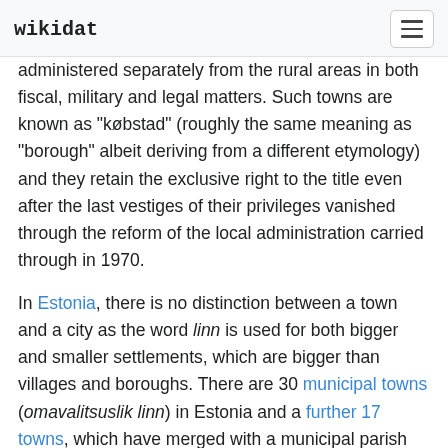wikidat
administered separately from the rural areas in both fiscal, military and legal matters. Such towns are known as "købstad" (roughly the same meaning as "borough" albeit deriving from a different etymology) and they retain the exclusive right to the title even after the last vestiges of their privileges vanished through the reform of the local administration carried through in 1970.
In Estonia, there is no distinction between a town and a city as the word linn is used for both bigger and smaller settlements, which are bigger than villages and boroughs. There are 30 municipal towns (omavalitsuslik linn) in Estonia and a further 17 towns, which have merged with a municipal parish (vallasisene linn).
In Finland, there is no distinction between a town and a city as the word kaupunki is used for both bigger and